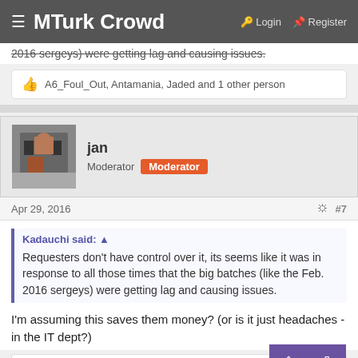MTurk Crowd — Login | Register
2016 sergeys) were getting lag and causing issues.
A6_Foul_Out, Antamania, Jaded and 1 other person
jan
Moderator  Moderator
Apr 29, 2016  #7
Kadauchi said: ↑
Requesters don't have control over it, its seems like it was in response to all those times that the big batches (like the Feb. 2016 sergeys) were getting lag and causing issues.
I'm assuming this saves them money? (or is it just headaches - in the IT dept?)
A6_Foul_Out and Definitely Not Riss